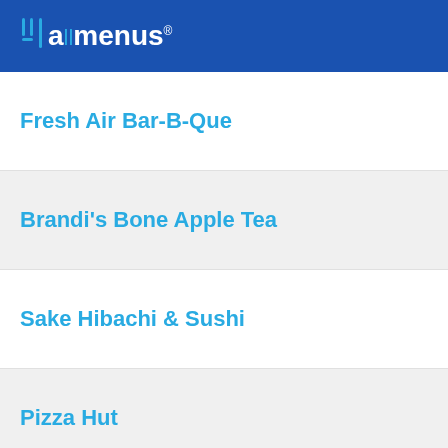allmenus
Fresh Air Bar-B-Que
Brandi's Bone Apple Tea
Sake Hibachi & Sushi
Pizza Hut
Kuntry Kitchen at Shell
Subway